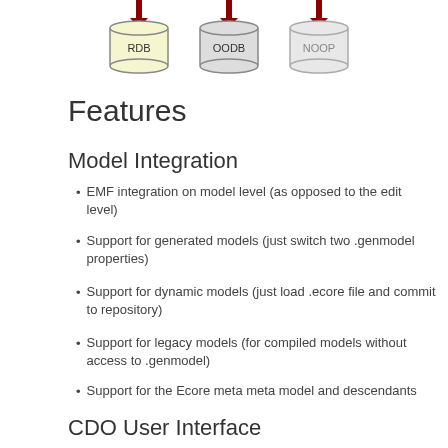[Figure (illustration): Three database cylinder icons labeled RDB, OODB, and NOOP with downward arrows, representing different database backends]
Features
Model Integration
EMF integration on model level (as opposed to the edit level)
Support for generated models (just switch two .genmodel properties)
Support for dynamic models (just load .ecore file and commit to repository)
Support for legacy models (for compiled models without access to .genmodel)
Support for the Ecore meta meta model and descendants
CDO User Interface
Eclipse view for working with CDO sessions.